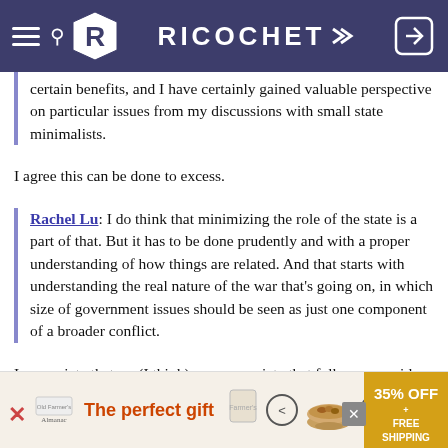RICOCHET
certain benefits, and I have certainly gained valuable perspective on particular issues from my discussions with small state minimalists.
I agree this can be done to excess.
Rachel Lu: I do think that minimizing the role of the state is a part of that. But it has to be done prudently and with a proper understanding of how things are related. And that starts with understanding the real nature of the war that’s going on, in which size of government issues should be seen as just one component of a broader conflict.
I appreciate that, as (I think) you appreciate that folks on our side care deeply about values and virtue. Our disagreement basically stems from my feeling that almost any use of the state outside of protecting
[Figure (screenshot): Advertisement banner at bottom: The perfect gift, 35% OFF + FREE SHIPPING]